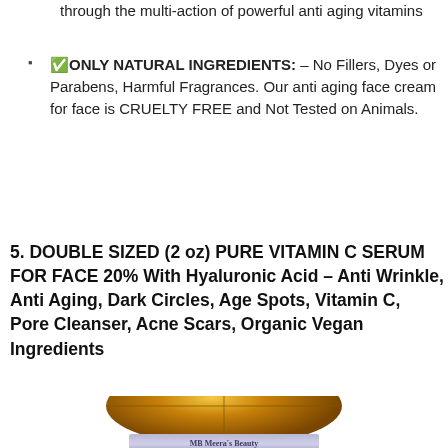through the multi-action of powerful anti aging vitamins
✅ONLY NATURAL INGREDIENTS: – No Fillers, Dyes or Parabens, Harmful Fragrances. Our anti aging face cream for face is CRUELTY FREE and Not Tested on Animals.
5. DOUBLE SIZED (2 oz) PURE VITAMIN C SERUM FOR FACE 20% With Hyaluronic Acid – Anti Wrinkle, Anti Aging, Dark Circles, Age Spots, Vitamin C, Pore Cleanser, Acne Scars, Organic Vegan Ingredients
[Figure (photo): Product bottle of Meera's Beauty Vitamin C Serum, amber/brown glass bottle with purple label showing MB Meera's Beauty branding, viewed from above at an angle.]